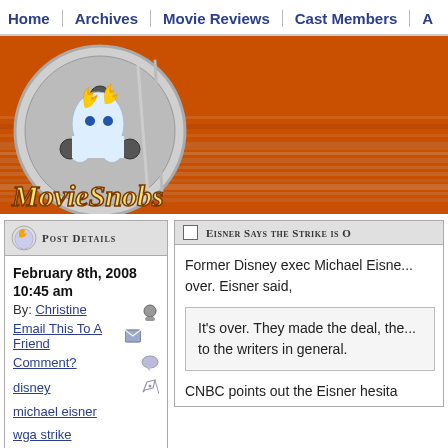Home | Archives | Movie Reviews | Cast Members | A
[Figure (logo): MovieSnobs website logo with film reel and flame mascot on orange banner background]
Post Details
February 8th, 2008
10:45 am
By: Christine
Email This To A Friend
Comment?
disney
michael eisner
wga strike
Eisner Says the Strike is O
Former Disney exec Michael Eisne... over. Eisner said,
It's over. They made the deal, the... to the writers in general.
CNBC points out the Eisner hesita